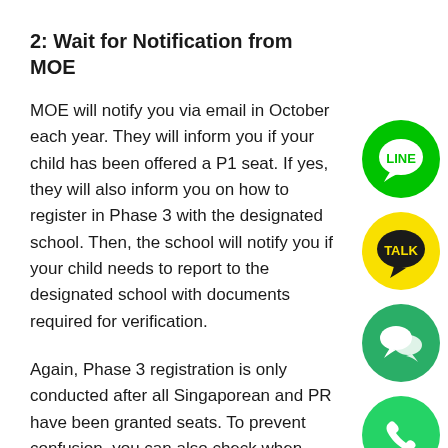2: Wait for Notification from MOE
MOE will notify you via email in October each year. They will inform you if your child has been offered a P1 seat. If yes, they will also inform you on how to register in Phase 3 with the designated school. Then, the school will notify you if your child needs to report to the designated school with documents required for verification.
Again, Phase 3 registration is only conducted after all Singaporean and PR have been granted seats. To prevent confusion, you can also check when your child is eligible for P1 registration here.
[Figure (logo): LINE messaging app green circle logo with speech bubble and LINE text]
[Figure (logo): KakaoTalk yellow speech bubble with TALK text on black background]
[Figure (logo): WeChat green circle logo with two chat bubble icons]
[Figure (logo): WhatsApp green circle logo with white phone handset icon]